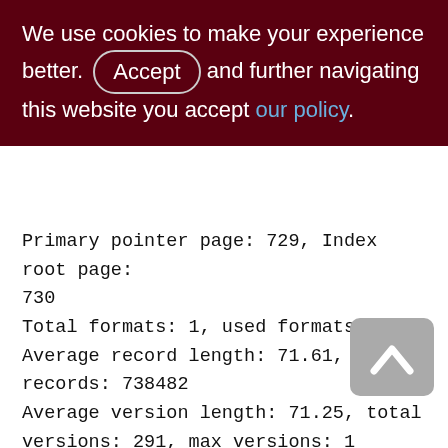We use cookies to make your experience better. By accepting and further navigating this website you accept our policy.
Primary pointer page: 729, Index root page: 730
Total formats: 1, used formats: 1
Average record length: 71.61, total records: 738482
Average version length: 71.25, total versions: 291, max versions: 1
Average fragment length: 0.00, total fragments: 0, max fragments: 0
Average unpacked length: 136.00, compression ratio: 1.90
Pointer pages: 8, data page slots: 11968